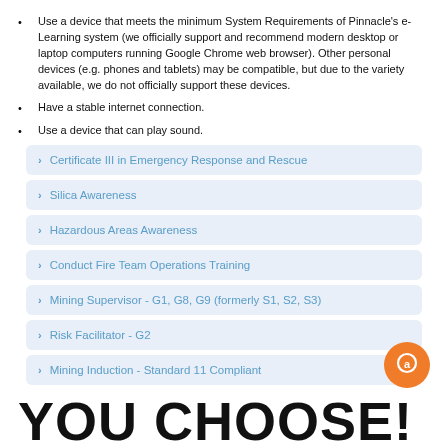Use a device that meets the minimum System Requirements of Pinnacle's e-Learning system (we officially support and recommend modern desktop or laptop computers running Google Chrome web browser). Other personal devices (e.g. phones and tablets) may be compatible, but due to the variety available, we do not officially support these devices.
Have a stable internet connection.
Use a device that can play sound.
Certificate III in Emergency Response and Rescue
Silica Awareness
Hazardous Areas Awareness
Conduct Fire Team Operations Training
Mining Supervisor - G1, G8, G9 (formerly S1, S2, S3)
Risk Facilitator - G2
Mining Induction - Standard 11 Compliant
YOU CHOOSE!